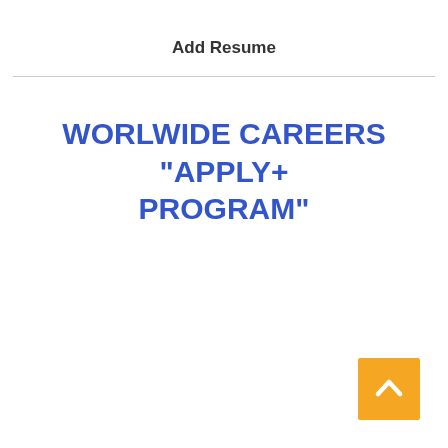Add Resume
WORLWIDE CAREERS "APPLY+ PROGRAM"
[Figure (other): Orange square button with a white upward chevron arrow, used as a back-to-top navigation button]